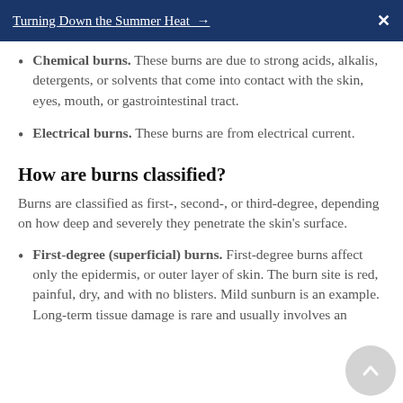Turning Down the Summer Heat →  X
Chemical burns. These burns are due to strong acids, alkalis, detergents, or solvents that come into contact with the skin, eyes, mouth, or gastrointestinal tract.
Electrical burns. These burns are from electrical current.
How are burns classified?
Burns are classified as first-, second-, or third-degree, depending on how deep and severely they penetrate the skin's surface.
First-degree (superficial) burns. First-degree burns affect only the epidermis, or outer layer of skin. The burn site is red, painful, dry, and with no blisters. Mild sunburn is an example. Long-term tissue damage is rare and usually involves an